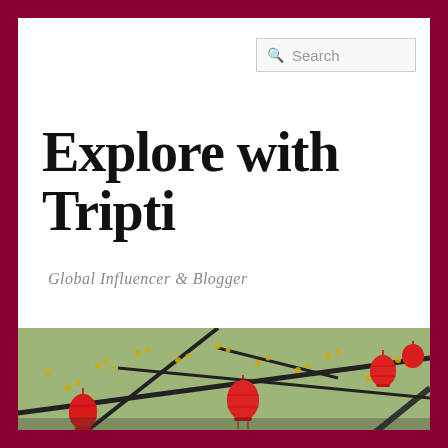[Figure (screenshot): Website header screenshot for 'Explore with Tripti' travel blog. White header area with search box, large bold cursive site title, subtitle 'Global Influencer & Blogger', a photo of red lanterns hanging on yellow-flowered branches, and a dark navigation bar at bottom with links: Home, About Me, Travel, Hotels, Food. Burgundy/dark red border surrounds the entire page.]
Explore with Tripti
Global Influencer & Blogger
Home
About Me
Travel
Hotels
Food